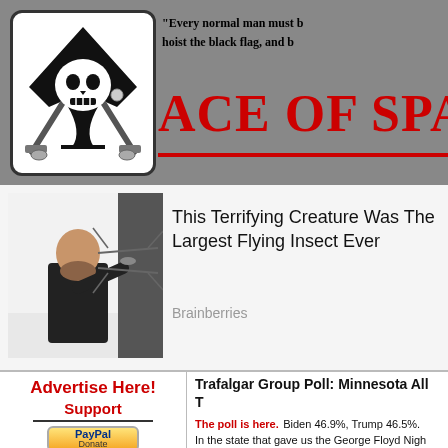[Figure (logo): Ace of Spades website header with pirate skull logo, quote text, and red site title on grey background]
[Figure (photo): Man holding a large model of a prehistoric flying insect in front of a wall]
This Terrifying Creature Was The Largest Flying Insect Ever
Brainberries
Advertise Here!
Support
[Figure (logo): PayPal Donate button]
Trafalgar Group Poll: Minnesota All T
The poll is here. Biden 46.9%, Trump 46.5%.
In the state that gave us the George Floyd Nigh
[Figure (bar-chart): Poll chart showing 'If the election for President were held today, how would you vote?' with Joe Biden bar visible]